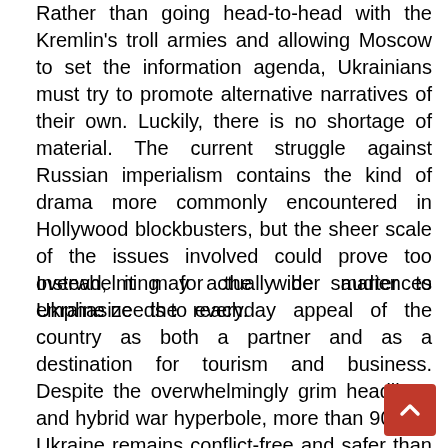Rather than going head-to-head with the Kremlin's troll armies and allowing Moscow to set the information agenda, Ukrainians must try to promote alternative narratives of their own. Luckily, there is no shortage of material. The current struggle against Russian imperialism contains the kind of drama more commonly encountered in Hollywood blockbusters, but the sheer scale of the issues involved could prove too overwhelming for the wider audiences Ukraine needs to reach.
Instead, it may actually be smarter to emphasize the everyday appeal of the country as both a partner and as a destination for tourism and business. Despite the overwhelmingly grim headlines and hybrid war hyperbole, more than 90% of Ukraine remains conflict-free and safer than most major European cities. It is a fascinating and friendly place where international visitors will encounter increasingly impressive service